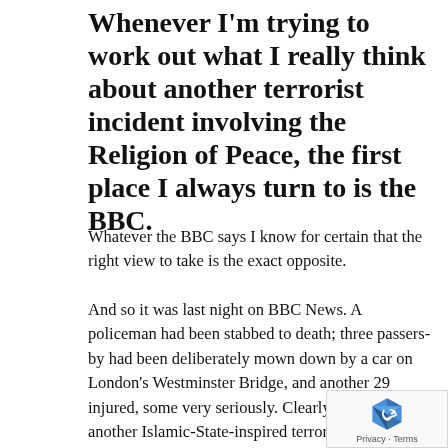Whenever I'm trying to work out what I really think about another terrorist incident involving the Religion of Peace, the first place I always turn to is the BBC.
Whatever the BBC says I know for certain that the right view to take is the exact opposite.
And so it was last night on BBC News. A policeman had been stabbed to death; three passers-by had been deliberately mown down by a car on London's Westminster Bridge, and another 29 injured, some very seriously. Clearly, this was yet another Islamic-State-inspired terrorist attack whose main aim was to inflict as much carnage as possible to as many innocent victims as possible until the perpetrator got shot.